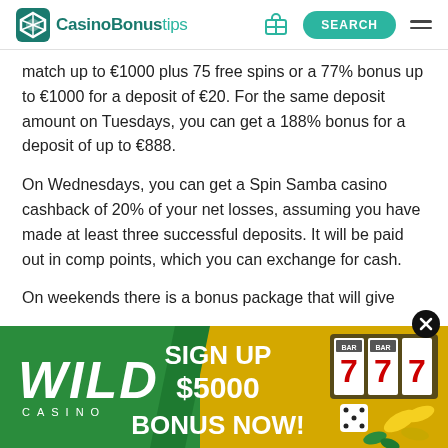CasinoBonustips
match up to €1000 plus 75 free spins or a 77% bonus up to €1000 for a deposit of €20. For the same deposit amount on Tuesdays, you can get a 188% bonus for a deposit of up to €888.
On Wednesdays, you can get a Spin Samba casino cashback of 20% of your net losses, assuming you have made at least three successful deposits. It will be paid out in comp points, which you can exchange for cash.
On weekends there is a bonus package that will give
[Figure (infographic): Wild Casino advertisement banner: green and yellow background, Wild Casino logo on left, 'SIGN UP $5000 BONUS NOW!' text in center, slot machine imagery on right]